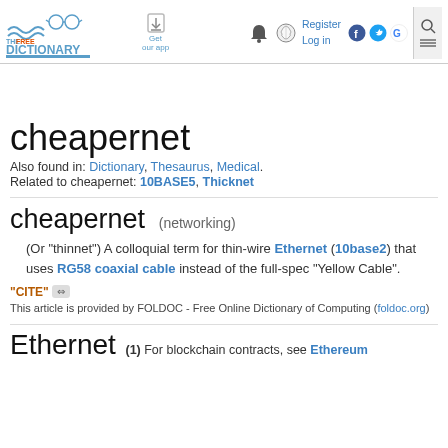[Figure (logo): The Free Dictionary by Farlex logo with glasses and waves]
cheapernet
Also found in: Dictionary, Thesaurus, Medical.
Related to cheapernet: 10BASE5, Thicknet
cheapernet (networking)
(Or "thinnet") A colloquial term for thin-wire Ethernet (10base2) that uses RG58 coaxial cable instead of the full-spec "Yellow Cable".
"CITE" ⇔ This article is provided by FOLDOC - Free Online Dictionary of Computing (foldoc.org)
Ethernet (1) For blockchain contracts, see Ethereum